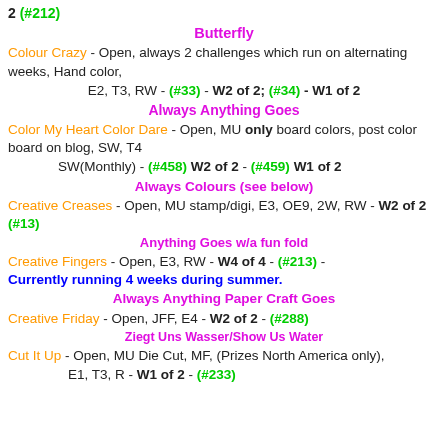2 (#212)
Butterfly
Colour Crazy - Open, always 2 challenges which run on alternating weeks, Hand color,
E2, T3, RW - (#33) - W2 of 2; (#34) - W1 of 2
Always Anything Goes
Color My Heart Color Dare - Open, MU only board colors, post color board on blog, SW, T4
SW(Monthly) - (#458) W2 of 2  -  (#459) W1 of 2
Always Colours (see below)
Creative Creases - Open, MU stamp/digi, E3, OE9, 2W, RW - W2 of 2 (#13)
Anything Goes w/a fun fold
Creative Fingers - Open, E3, RW - W4 of 4 - (#213) - Currently running 4 weeks during summer.
Always Anything Paper Craft Goes
Creative Friday - Open, JFF, E4 - W2 of 2 - (#288)
Ziegt Uns Wasser/Show Us Water
Cut It Up - Open, MU Die Cut, MF, (Prizes North America only),
E1, T3, R - W1 of 2 - (#233)